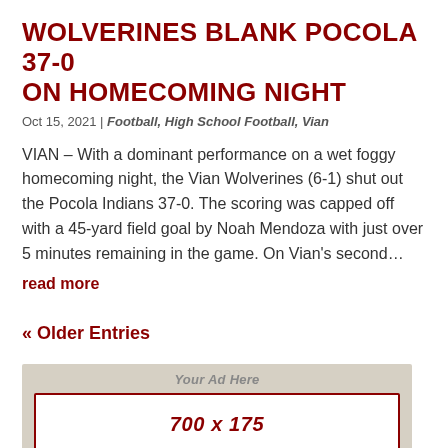WOLVERINES BLANK POCOLA 37-0 ON HOMECOMING NIGHT
Oct 15, 2021 | Football, High School Football, Vian
VIAN – With a dominant performance on a wet foggy homecoming night, the Vian Wolverines (6-1) shut out the Pocola Indians 37-0. The scoring was capped off with a 45-yard field goal by Noah Mendoza with just over 5 minutes remaining in the game. On Vian's second…
read more
« Older Entries
[Figure (other): Advertisement placeholder box: 'Your Ad Here' label at top, a bordered inner box showing '700 x 175', and 'Sport Sponsor Banner' label at bottom.]